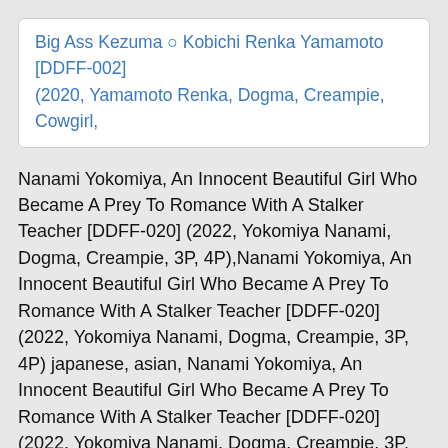Big Ass Kezuma ○ Kobichi Renka Yamamoto [DDFF-002] (2020, Yamamoto Renka, Dogma, Creampie, Cowgirl,
Nanami Yokomiya, An Innocent Beautiful Girl Who Became A Prey To Romance With A Stalker Teacher [DDFF-020] (2022, Yokomiya Nanami, Dogma, Creampie, 3P, 4P),Nanami Yokomiya, An Innocent Beautiful Girl Who Became A Prey To Romance With A Stalker Teacher [DDFF-020] (2022, Yokomiya Nanami, Dogma, Creampie, 3P, 4P) japanese, asian, Nanami Yokomiya, An Innocent Beautiful Girl Who Became A Prey To Romance With A Stalker Teacher [DDFF-020] (2022, Yokomiya Nanami, Dogma, Creampie, 3P, 4P) jav, Nanami Yokomiya, An Innocent Beautiful Girl Who Became A Prey To Romance With A Stalker Teacher [DDFF-020] (2022, Yokomiya Nanami, Dogma, Creampie, 3P, 4P) japanese porn, Nanami Yokomiya, An Innocent Beautiful Girl Who Became A Prey To Romance With A Stalker Teacher [DDFF-020] (2022, Yokomiya Nanami, Dogma, Creampie, 3P, 4P) asian porn, Nanami Yokomiya, An Innocent Beautiful Girl Who Became A Prey To Romance With A Stalker Teacher [DDFF-020] (2022, Yokomiya Nanami, Dogma, Creampie, 3P, 4P) free japanese porn, Nanami Yokomiya, An Innocent Beautiful Girl Who Became A Prey To Romance With A Stalker Teacher [DDFF-020] (2022, Yokomiya